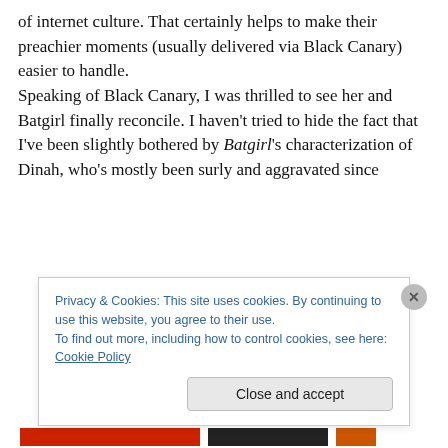of internet culture. That certainly helps to make their preachier moments (usually delivered via Black Canary) easier to handle.
Speaking of Black Canary, I was thrilled to see her and Batgirl finally reconcile. I haven't tried to hide the fact that I've been slightly bothered by Batgirl's characterization of Dinah, who's mostly been surly and aggravated since
Privacy & Cookies: This site uses cookies. By continuing to use this website, you agree to their use.
To find out more, including how to control cookies, see here: Cookie Policy
Close and accept